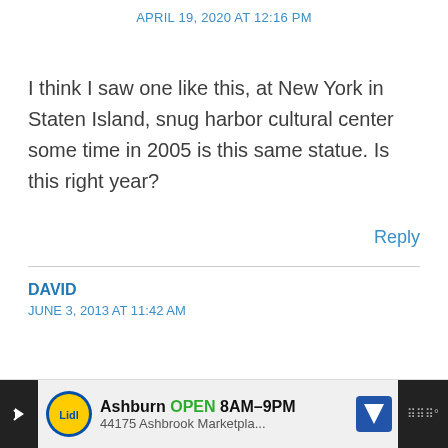APRIL 19, 2020 AT 12:16 PM
I think I saw one like this, at New York in Staten Island, snug harbor cultural center some time in 2005 is this same statue. Is this right year?
Reply
DAVID
JUNE 3, 2013 AT 11:42 AM
[Figure (other): Advertisement bar for Lidl store in Ashburn showing OPEN 8AM-9PM and address 44175 Ashbrook Marketpla...]